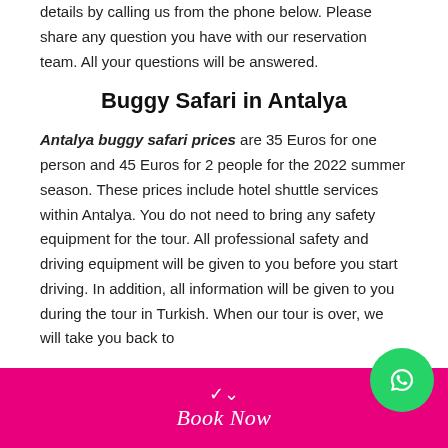details by calling us from the phone below. Please share any question you have with our reservation team. All your questions will be answered.
Buggy Safari in Antalya
Antalya buggy safari prices are 35 Euros for one person and 45 Euros for 2 people for the 2022 summer season. These prices include hotel shuttle services within Antalya. You do not need to bring any safety equipment for the tour. All professional safety and driving equipment will be given to you before you start driving. In addition, all information will be given to you during the tour in Turkish. When our tour is over, we will take you back to
Book Now